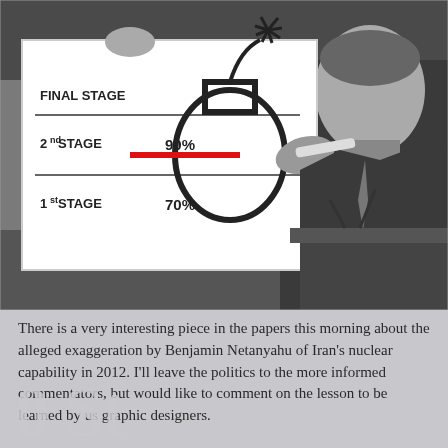[Figure (photo): Black and white photograph of Benjamin Netanyahu at a podium, drawing a red line on a diagram of a bomb/chart with FINAL STAGE, 2nd STAGE (90%), and 1st STAGE (70%) labeled.]
There is a very interesting piece in the papers this morning about the alleged exaggeration by Benjamin Netanyahu of Iran's nuclear capability in 2012. I'll leave the politics to the more informed commentators, but would like to comment on the lesson to be learned by us graphic designers.